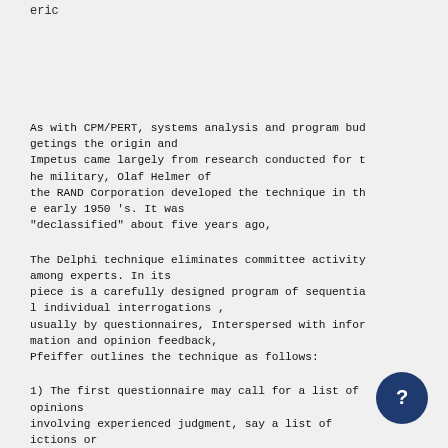eric
As with CPM/PERT, systems analysis and program budgetings the origin and Impetus came largely from research conducted for the military, Olaf Helmer of the RAND Corporation developed the technique in the early 1950 's. It was "declassified" about five years ago,
The Delphi technique eliminates committee activity among experts. In its piece is a carefully designed program of sequential individual interrogations , usually by questionnaires, Interspersed with information and opinion feedback, Pfeiffer outlines the technique as follows:
1) The first questionnaire may call for a list of opinions involving experienced judgment, say a list of ictions or recommended activities